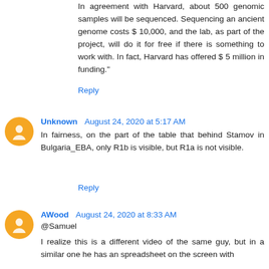In agreement with Harvard, about 500 genomic samples will be sequenced. Sequencing an ancient genome costs $ 10,000, and the lab, as part of the project, will do it for free if there is something to work with. In fact, Harvard has offered $ 5 million in funding."
Reply
Unknown August 24, 2020 at 5:17 AM
In fairness, on the part of the table that behind Stamov in Bulgaria_EBA, only R1b is visible, but R1a is not visible.
Reply
AWood August 24, 2020 at 8:33 AM
@Samuel
I realize this is a different video of the same guy, but in a similar one he has an spreadsheet on the screen with